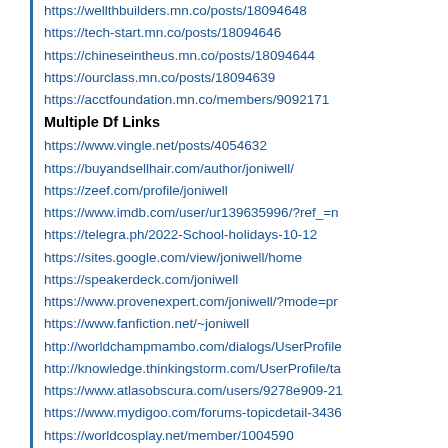https://wellthbuilders.mn.co/posts/18094648
https://tech-start.mn.co/posts/18094646
https://chineseintheus.mn.co/posts/18094644
https://ourclass.mn.co/posts/18094639
https://acctfoundation.mn.co/members/9092171
Multiple Df Links
https://www.vingle.net/posts/4054632
https://buyandsellhair.com/author/joniwell/
https://zeef.com/profile/joniwell
https://www.imdb.com/user/ur139635996/?ref_=n
https://telegra.ph/2022-School-holidays-10-12
https://sites.google.com/view/joniwell/home
https://speakerdeck.com/joniwell
https://www.provenexpert.com/joniwell/?mode=pr
https://www.fanfiction.net/~joniwell
http://worldchampmambo.com/dialogs/UserProfile
http://knowledge.thinkingstorm.com/UserProfile/ta
https://www.atlasobscura.com/users/9278e909-21
https://www.mydigoo.com/forums-topicdetail-3436
https://worldcosplay.net/member/1004590
https://www.minecraftforum.net/members/joniwell
http://www.deol.it/UserProfile/tabid/43/userId/5563
http://dpkofcorg00.web708.discountasp.net/home
https://www.viki.com/users/wellgyan5_222/about
http://kiredu.ru/UserProfile/tabid/182/userId/6750